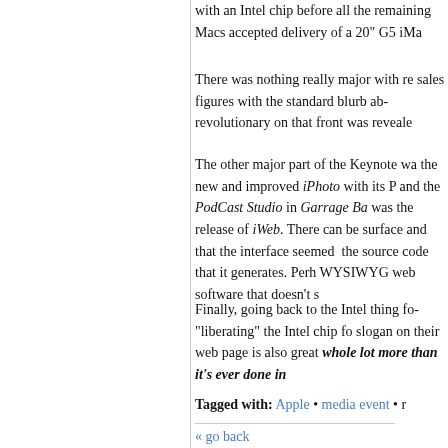with an Intel chip before all the remaining Macs accepted delivery of a 20" G5 iMa...
There was nothing really major with re... sales figures with the standard blurb ab... revolutionary on that front was reveale...
The other major part of the Keynote wa... the new and improved iPhoto with its P... and the PodCast Studio in Garrage Ba... was the release of iWeb. There can be... surface and that the interface seemed... the source code that it generates. Perh... WYSIWYG web software that doesn't s...
Finally, going back to the Intel thing fo... "liberating" the Intel chip fo... slogan on their web page is also great... whole lot more than it's ever done in...
Tagged with: Apple • media event • r...
« go back